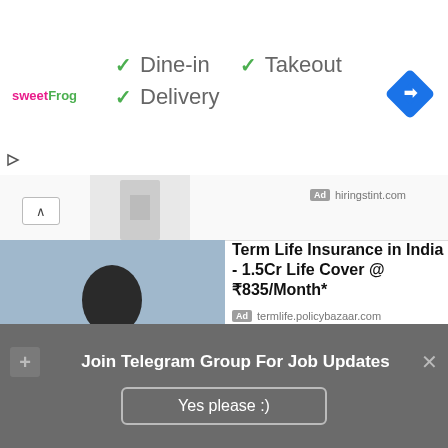[Figure (screenshot): SweetFrog logo with checkmarks for Dine-in, Takeout, Delivery and a blue navigation diamond icon]
✓ Dine-in  ✓ Takeout
✓ Delivery
[Figure (screenshot): Partial image of ad panel with hiringstint.com label and person figure]
[Figure (photo): Ad image: man in suit pointing, with text 'Best of' - Term Life Insurance ad]
Term Life Insurance in India - 1.5Cr Life Cover @ ₹835/Month*
Ad  termlife.policybazaar.com
[Figure (photo): Ad image: Tempur-Pedic mattress on blue bed frame in styled bedroom]
Shop Tempur-Pedic Mattresses
Ad  Ashley
Join Telegram Group For Job Updates
Yes please :)